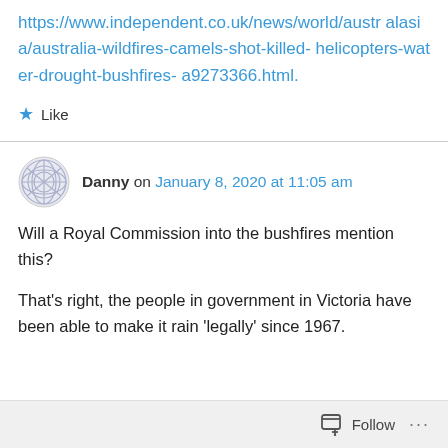https://www.independent.co.uk/news/world/australasia/australia-wildfires-camels-shot-killed-helicopters-water-drought-bushfires-a9273366.html.
★ Like
Danny on January 8, 2020 at 11:05 am
Will a Royal Commission into the bushfires mention this?
That's right, the people in government in Victoria have been able to make it rain 'legally' since 1967.
Follow ...